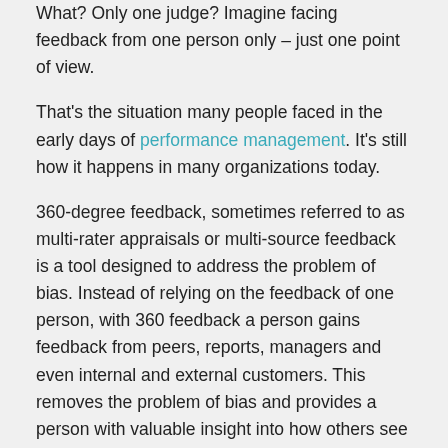What? Only one judge? Imagine facing feedback from one person only – just one point of view.
That's the situation many people faced in the early days of performance management. It's still how it happens in many organizations today.
360-degree feedback, sometimes referred to as multi-rater appraisals or multi-source feedback is a tool designed to address the problem of bias. Instead of relying on the feedback of one person, with 360 feedback a person gains feedback from peers, reports, managers and even internal and external customers. This removes the problem of bias and provides a person with valuable insight into how others see them.